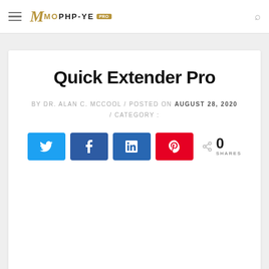MOPHP-YE [PRO]
Quick Extender Pro
BY DR. ALAN C. MCCOOL / POSTED ON AUGUST 28, 2020 / CATEGORY :
[Figure (infographic): Social share buttons: Twitter (blue), Facebook (blue), LinkedIn (dark blue), Pinterest (red), and a share count showing 0 SHARES]